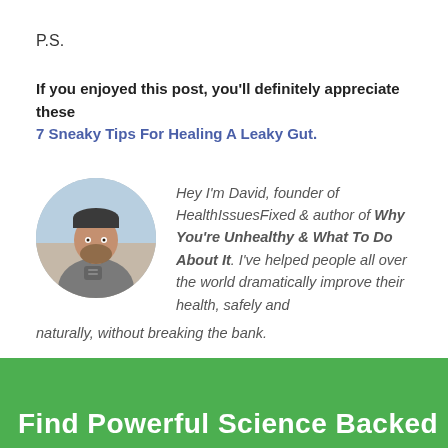P.S.
If you enjoyed this post, you'll definitely appreciate these 7 Sneaky Tips For Healing A Leaky Gut.
[Figure (photo): Circular profile photo of David, a man with a beard wearing a grey shirt, standing near a beach]
Hey I'm David, founder of HealthIssuesFixed & author of Why You're Unhealthy & What To Do About It. I've helped people all over the world dramatically improve their health, safely and naturally, without breaking the bank.
Find Powerful Science Backed